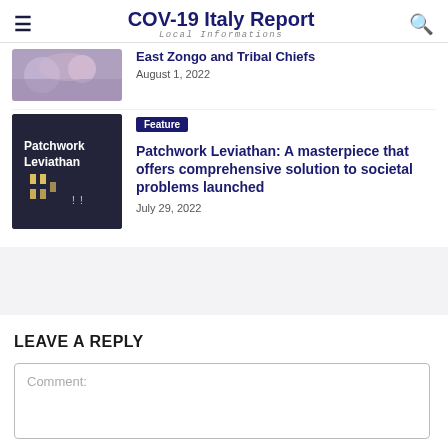COV-19 Italy Report
Local Informations
East Zongo and Tribal Chiefs
August 1, 2022
[Figure (photo): Partial thumbnail of an article about East Zongo and Tribal Chiefs]
Feature
Patchwork Leviathan: A masterpiece that offers comprehensive solution to societal problems launched
July 29, 2022
[Figure (photo): Thumbnail image with text 'Patchwork Leviathan' on dark background]
LEAVE A REPLY
Comment: